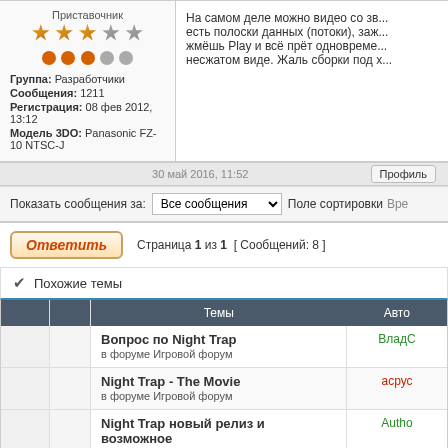Приставочник
Группа: Разработчики
Сообщения: 1211
Регистрация: 08 фев 2012, 13:12
Модель 3DO: Panasonic FZ-10 NTSC-J
На самом деле можно видео со зв... есть полоски данных (потоки), заж... жмёшь Play и всё прёт одновреме... несжатом виде. Жаль сборки под х...
30 май 2016, 11:52
Профиль
Показать сообщения за: Все сообщения  Поле сортировки Вре
Ответить  Страница 1 из 1  [ Сообщений: 8 ]
✓ Похожие темы
| Темы | Авто |
| --- | --- |
| Вопрос по Night Trap
в форуме Игровой форум | ВладС |
| Night Trap - The Movie
в форуме Игровой форум | асру |
| Night Trap новый релиз и возможное продолжение
в форуме Игровой форум | Autho |
| [Куплю] Night Trap, Supreme Warrior, Slam City...
в форуме Барахолка | ostrv |